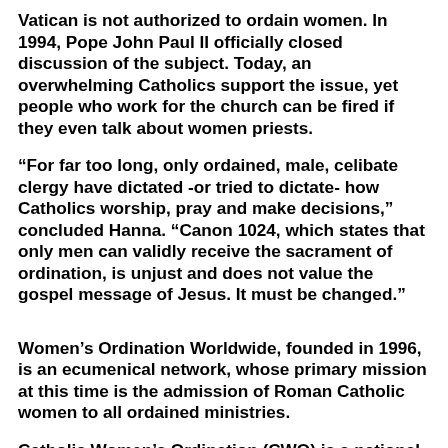Vatican is not authorized to ordain women. In 1994, Pope John Paul II officially closed discussion of the subject. Today, an overwhelming Catholics support the issue, yet people who work for the church can be fired if they even talk about women priests.
“For far too long, only ordained, male, celibate clergy have dictated -or tried to dictate- how Catholics worship, pray and make decisions,” concluded Hanna. “Canon 1024, which states that only men can validly receive the sacrament of ordination, is unjust and does not value the gospel message of Jesus. It must be changed.”
Women’s Ordination Worldwide, founded in 1996, is an ecumenical network, whose primary mission at this time is the admission of Roman Catholic women to all ordained ministries.
Catholic Women’s Ordination (CWO) is a national group of women and men in the UK (including Scotland and